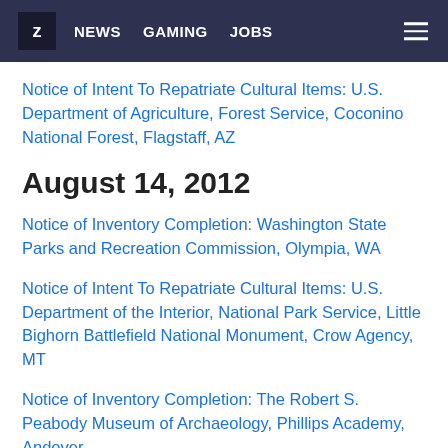Z | NEWS  GAMING  JOBS
Notice of Intent To Repatriate Cultural Items: U.S. Department of Agriculture, Forest Service, Coconino National Forest, Flagstaff, AZ
August 14, 2012
Notice of Inventory Completion: Washington State Parks and Recreation Commission, Olympia, WA
Notice of Intent To Repatriate Cultural Items: U.S. Department of the Interior, National Park Service, Little Bighorn Battlefield National Monument, Crow Agency, MT
Notice of Inventory Completion: The Robert S. Peabody Museum of Archaeology, Phillips Academy, Andover, MA
Notice of Inventory Completion: Logan Museum of Anthropology, Beloit College, Beloit, WI